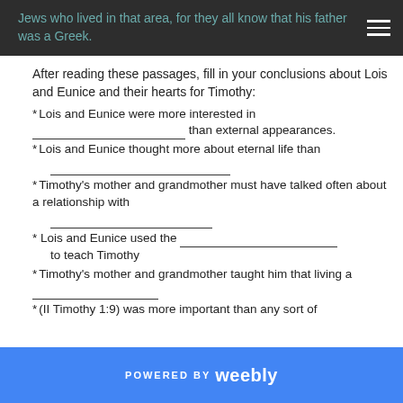Jews who lived in that area, for they all knew that his father was a Greek.
After reading these passages, fill in your conclusions about Lois and Eunice and their hearts for Timothy:
* Lois and Eunice were more interested in ___________________________ than external appearances.
* Lois and Eunice thought more about eternal life than ___________________________.
* Timothy's mother and grandmother must have talked often about a relationship with _________________________.
* Lois and Eunice used the ___________________________ to teach Timothy
* Timothy's mother and grandmother taught him that living a ___________________________.
*(II Timothy 1:9) was more important than any sort of
POWERED BY weebly